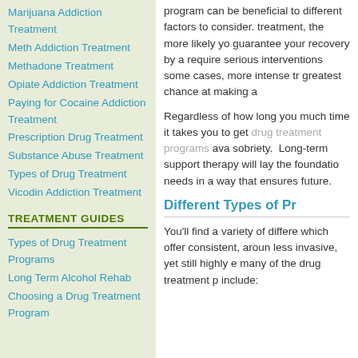Marijuana Addiction Treatment
Meth Addiction Treatment
Methadone Treatment
Opiate Addiction Treatment
Paying for Cocaine Addiction Treatment
Prescription Drug Treatment
Substance Abuse Treatment
Types of Drug Treatment
Vicodin Addiction Treatment
TREATMENT GUIDES
Types of Drug Treatment Programs
Long Term Alcohol Rehab
Choosing a Drug Treatment Program
program can be beneficial to different factors to consider. treatment, the more likely yo guarantee your recovery by a require serious interventions some cases, more intense tr greatest chance at making a
Regardless of how long you much time it takes you to get drug treatment programs ava sobriety. Long-term support therapy will lay the foundatio needs in a way that ensures future.
Different Types of Pr
You'll find a variety of differe which offer consistent, aroun less invasive, yet still highly e many of the drug treatment p include: